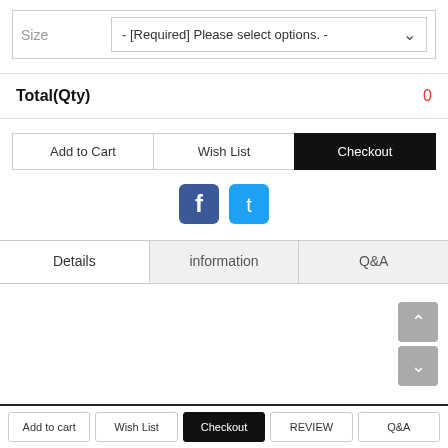Size   - [Required] Please select options. -
Total(Qty)   0
Add to Cart | Wish List | Checkout
[Figure (logo): Facebook and Twitter social media icon buttons]
Details | information | Q&A (tabs)
Add to cart | Wish List | Checkout | REVIEW | Q&A (bottom bar)